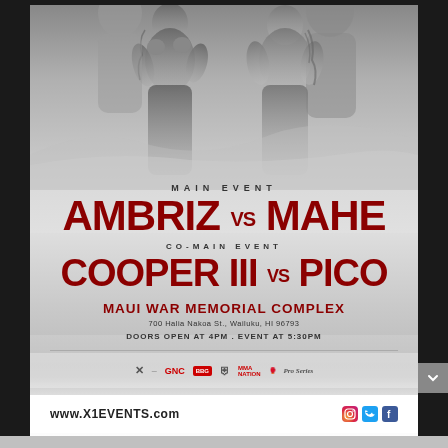[Figure (photo): MMA event promotional poster showing two fighters in fighting stances against a grey background, with mountain landscape behind them]
MAIN EVENT
AMBRIZ VS MAHE
CO-MAIN EVENT
COOPER III VS PICO
MAUI WAR MEMORIAL COMPLEX
700 Halia Nakoa St., Wailuku, HI 96793
DOORS OPEN AT 4PM . EVENT AT 5:30PM
[Figure (logo): Sponsor logos: X1, GNC, BBG, shield logo, MMA Nation, and other sponsors]
www.X1EVENTS.com